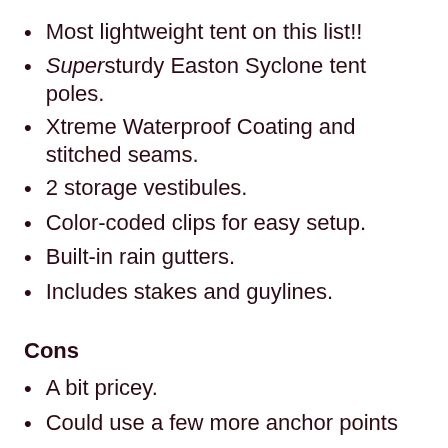Most lightweight tent on this list!!
Super sturdy Easton Syclone tent poles.
Xtreme Waterproof Coating and stitched seams.
2 storage vestibules.
Color-coded clips for easy setup.
Built-in rain gutters.
Includes stakes and guylines.
Cons
A bit pricey.
Could use a few more anchor points